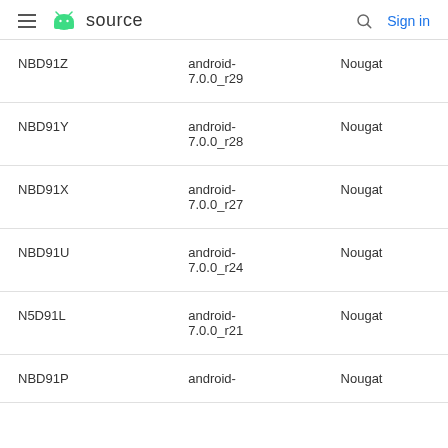≡ android source  🔍 Sign in
| NBD91Z | android-7.0.0_r29 | Nougat |
| NBD91Y | android-7.0.0_r28 | Nougat |
| NBD91X | android-7.0.0_r27 | Nougat |
| NBD91U | android-7.0.0_r24 | Nougat |
| N5D91L | android-7.0.0_r21 | Nougat |
| NBD91P | android- | Nougat |